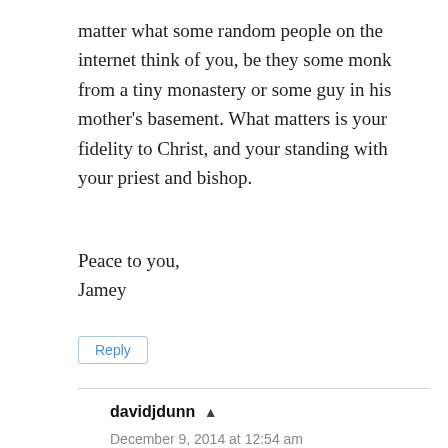matter what some random people on the internet think of you, be they some monk from a tiny monastery or some guy in his mother's basement. What matters is your fidelity to Christ, and your standing with your priest and bishop.
Peace to you,
Jamey
Reply
davidjdunn
December 9, 2014 at 12:54 am